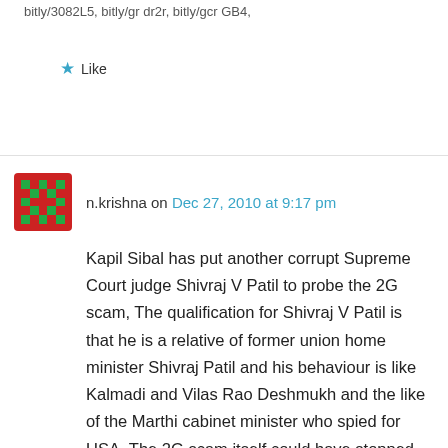bitly/3082L5, bitly/gr dr2r, bitly/gcr GB4,
★ Like
n.krishna on Dec 27, 2010 at 9:17 pm
Kapil Sibal has put another corrupt Supreme Court judge Shivraj V Patil to probe the 2G scam, The qualification for Shivraj V Patil is that he is a relative of former union home minister Shivraj Patil and his behaviour is like Kalmadi and Vilas Rao Deshmukh and the like of the Marthi cabinet minister who spied for USA. The 2G scam itself could have stopped earlier if the former thief who was the Chief Justice of India K G Balakrishnan told the truth that A Raja has tried to influence the-Madras High Court Judge.